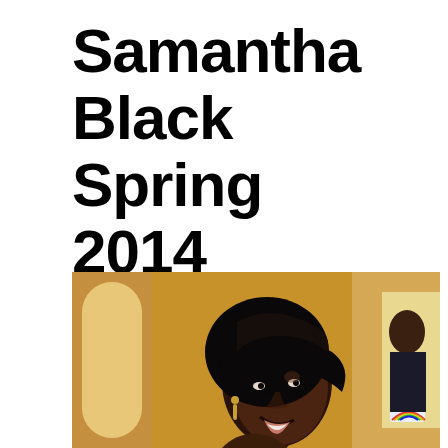Samantha Black Spring 2014 Fashion Show
[Figure (photo): A smiling young Black woman with a short asymmetric hairstyle, looking over her shoulder toward the camera. The background shows a warmly-lit room with other people visible. Photo appears to be taken backstage at a fashion show.]